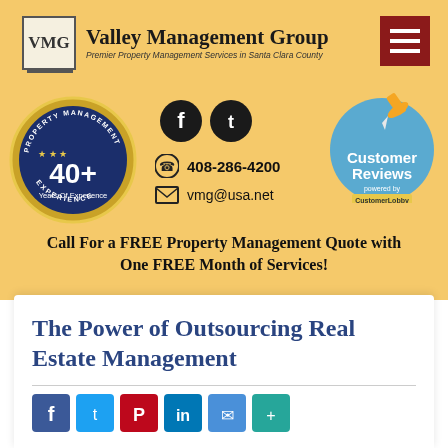[Figure (logo): Valley Management Group logo with VMG box and company name]
[Figure (infographic): Gold badge: 40+ Years Of Experience, Property Management Experience]
[Figure (infographic): Social media icons (Facebook, Twitter), phone 408-286-4200, email vmg@usa.net]
[Figure (infographic): Customer Reviews badge powered by CustomerLobby]
Call For a FREE Property Management Quote with One FREE Month of Services!
The Power of Outsourcing Real Estate Management
[Figure (infographic): Social share buttons: Facebook, Twitter, Pinterest, LinkedIn, and more]